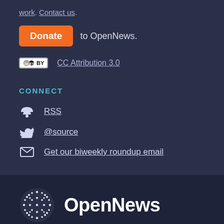work. Contact us.
Donate to OpenNews.
[Figure (logo): Creative Commons CC BY license badge]
CC Attribution 3.0
CONNECT
RSS
@source
Get our biweekly roundup email
[Figure (logo): OpenNews logo with dotted circle icon and OpenNews wordmark]
OpenNews connects a network of developers, designers, journalists, and editors to collaborate on